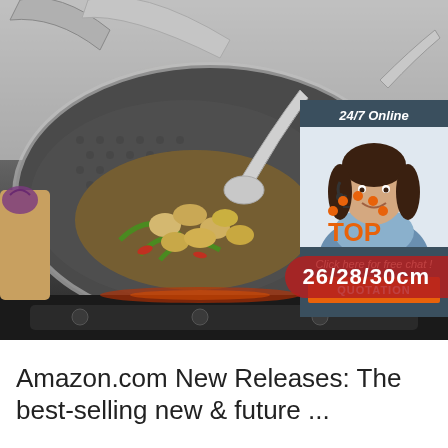[Figure (photo): Product image of a stainless steel wok/frying pan with honeycomb surface texture, containing cooked clams stir-fried with green beans and red peppers, with a ladle inside. The pan is on an induction cooker. A chat widget overlay on the right shows a customer service representative with text '24/7 Online' and 'Click here for free chat!' and a red 'QUOTATION' button. A size badge '26/28/30cm' is shown at bottom right. A 'TOP' badge with orange dots is also visible.]
Amazon.com New Releases: The best-selling new & future ...